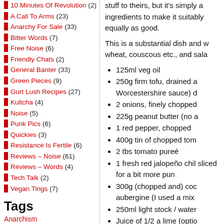10 Minutes of Revolution (2)
A Call To Arms (23)
Anarchy For Sale (33)
Bitter Words (7)
Free Noise (6)
Friendly Chats (2)
General Banter (33)
Green Pieces (9)
Gurt Lush Recipes (27)
Kultcha (4)
Noise (5)
Punk Pics (6)
Quickies (3)
Resistance Is Fertile (6)
Reviews – Noise (61)
Reviews – Words (4)
Tech Talk (2)
Vegan Tings (7)
Tags
Anarchism
Anarcho-Punk Antifa Capdown
stuff to theirs, but it's simply a ingredients to make it suitably equally as good.
This is a substantial dish and w wheat, couscous etc., and sala
125ml veg oil
250g firm tofu, drained a Worcestershire sauce) d
2 onions, finely chopped
225g peanut butter (no a
1 red pepper, chopped
400g tin of chopped tom
2 tbs tomato pureé
1 fresh red jalopeño chil sliced for a bit more pun
300g (chopped and) coc aubergine (I used a mix
250ml light stock / water
Juice of 1/2 a lime (optio
Shredded fresh herb (e. (optional)